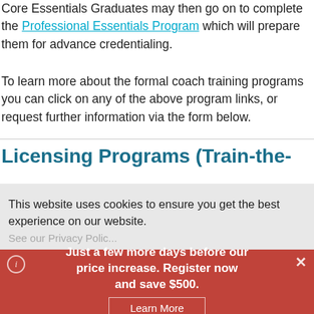Core Essentials Graduates may then go on to complete the Professional Essentials Program which will prepare them for advance credentialing.
To learn more about the formal coach training programs you can click on any of the above program links, or request further information via the form below.
Licensing Programs (Train-the-
This website uses cookies to ensure you get the best experience on our website.
Just a few more days before our price increase. Register now and save $500.